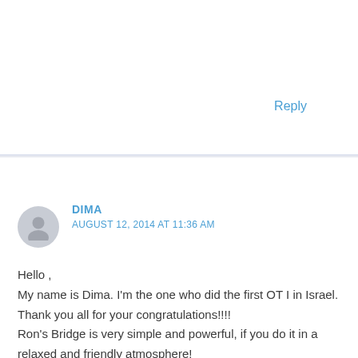Reply
DIMA
AUGUST 12, 2014 AT 11:36 AM
Hello ,
My name is Dima. I'm the one who did the first OT I in Israel.
Thank you all for your congratulations!!!!
Ron's Bridge is very simple and powerful, if you do it in a relaxed and friendly atmosphere!
My thanks to Dror!!!!!